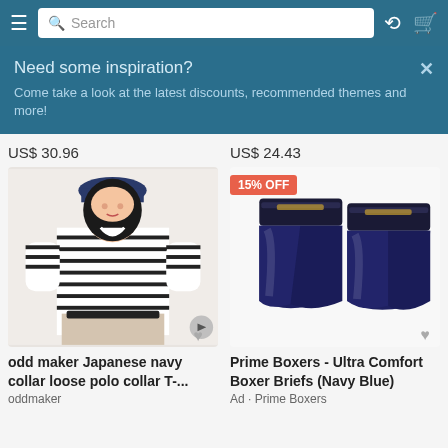Search bar with hamburger menu, history and cart icons
Need some inspiration?
Come take a look at the latest discounts, recommended themes and more!
US$ 30.96
[Figure (photo): Young woman wearing a black and white horizontal striped loose polo collar T-shirt with a navy hat and beige skirt]
odd maker Japanese navy collar loose polo collar T-...
oddmaker
US$ 24.43
[Figure (photo): Navy blue Prime Boxers ultra comfort boxer briefs, shown as a pair side by side on white background]
Prime Boxers - Ultra Comfort Boxer Briefs (Navy Blue)
Ad • Prime Boxers